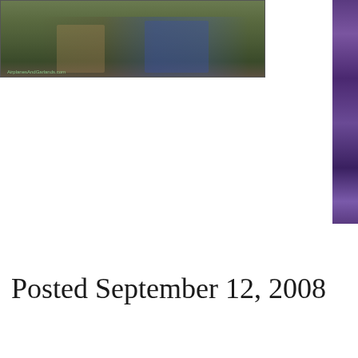[Figure (photo): Photograph showing people standing on grass outdoors, partially cropped. A watermark text is visible in the lower left corner of the photo.]
[Figure (photo): Partial photograph on the right edge of the page showing a dark purple/blue toned image, cropped at the page boundary.]
Posted September 12, 2008